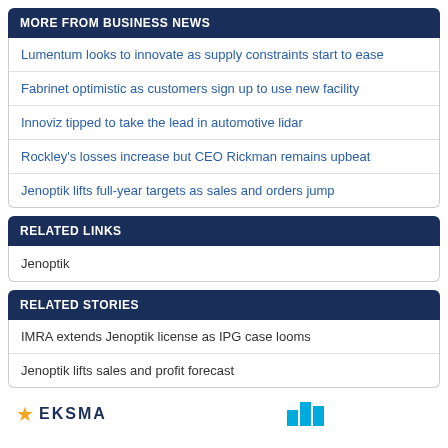MORE FROM BUSINESS NEWS
Lumentum looks to innovate as supply constraints start to ease
Fabrinet optimistic as customers sign up to use new facility
Innoviz tipped to take the lead in automotive lidar
Rockley's losses increase but CEO Rickman remains upbeat
Jenoptik lifts full-year targets as sales and orders jump
RELATED LINKS
Jenoptik
RELATED STORIES
IMRA extends Jenoptik license as IPG case looms
Jenoptik lifts sales and profit forecast
[Figure (logo): EKSMA logo with star icon on left, bar chart icon on right]